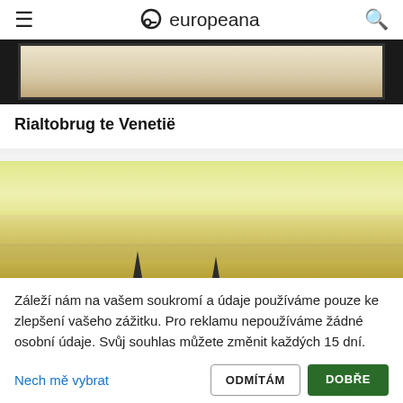europeana
[Figure (photo): Top portion of a framed historical painting or photograph, showing aged paper/canvas with dark border, partially visible]
Rialtobrug te Venetië
[Figure (photo): Painting of a Venice landscape with a pale yellow sky, water, and dark silhouettes of masts or poles at the bottom]
Záleží nám na vašem soukromí a údaje používáme pouze ke zlepšení vašeho zážitku. Pro reklamu nepoužíváme žádné osobní údaje. Svůj souhlas můžete změnit každých 15 dní.
Nech mě vybrat
ODMÍTÁM
DOBŘE